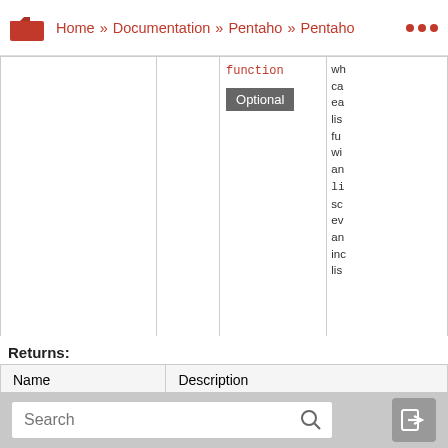Home » Documentation » Pentaho » Pentaho ...
|  |  | function / Optional |  |
| --- | --- | --- | --- |
|  |  |  | wh ca ea lis fu wi an li so ev an inc lis |
Returns:
| Name | Description |
| --- | --- |
| [object] | [description text clipped] |